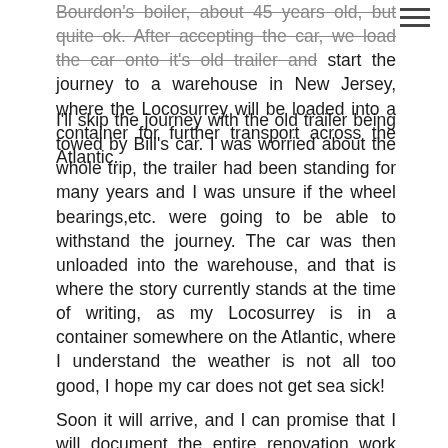Bourdon's boiler, about 45 years old, but quite ok. After accepting the car, we load the car onto it's old trailer and start the journey to a warehouse in New Jersey, where the Locosurrey will be loaded into a container for further transport across the Atlantic.
I'll skip the journey with the old trailer being towed by Bill's car. I was worried about the whole trip, the trailer had been standing for many years and I was unsure if the wheel bearings,etc. were going to be able to withstand the journey. The car was then unloaded into the warehouse, and that is where the story currently stands at the time of writing, as my Locosurrey is in a container somewhere on the Atlantic, where I understand the weather is not all too good, I hope my car does not get sea sick!
Soon it will arrive, and I can promise that I will document the entire renovation work here on Steam Car Network. Those interested are welcome to check back and read on my progress.